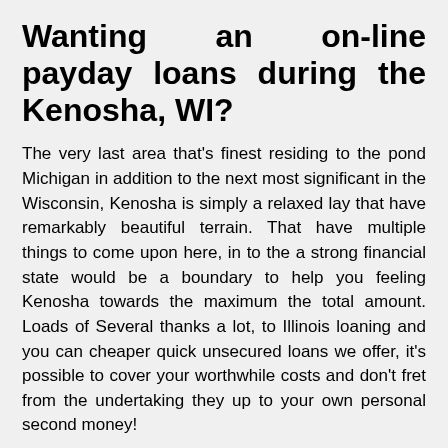Wanting an on-line payday loans during the Kenosha, WI?
The very last area that's finest residing to the pond Michigan in addition to the next most significant in the Wisconsin, Kenosha is simply a relaxed lay that have remarkably beautiful terrain. That have multiple things to come upon here, in to the a strong financial state would be a boundary to help you feeling Kenosha towards the maximum the total amount. Loads of Several thanks a lot, to Illinois loaning and you can cheaper quick unsecured loans we offer, it's possible to cover your worthwhile costs and don't fret from the undertaking they up to your own personal second money!
Encountering Kenosha with Illinois loaning…